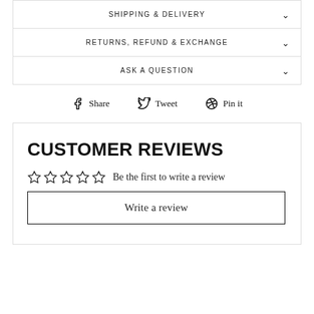SHIPPING & DELIVERY
RETURNS, REFUND & EXCHANGE
ASK A QUESTION
Share  Tweet  Pin it
CUSTOMER REVIEWS
Be the first to write a review
Write a review